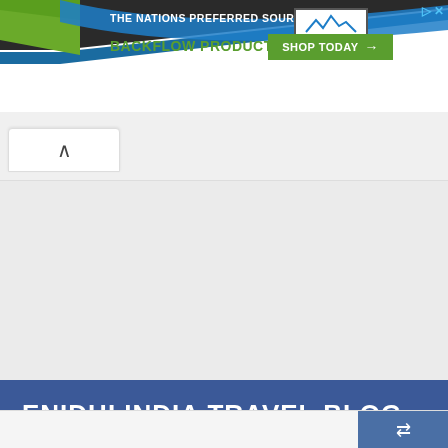[Figure (screenshot): Advertisement banner for Test Gauge Inc. promoting backflow products and services with a green/blue wave design, logo, and Shop Today button]
THE NATIONS PREFERRED SOURCE FOR
BACKFLOW PRODUCTS & SERVICES
SHOP TODAY →
ENIDHI INDIA TRAVEL BLOG